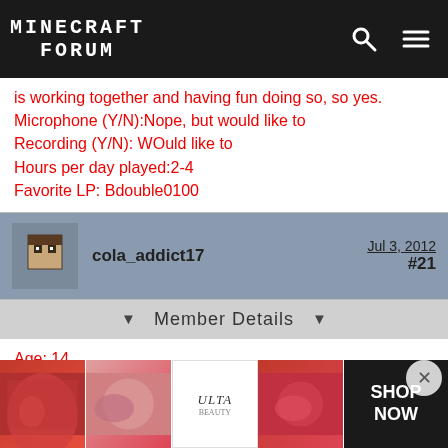MINECRAFT FORUM
is working together and having fun doing so, so yes.
Microphone (Y/N):Nope, but would like to
Recording (Y/N): WOuld like to
Hours per day played:2-4
Favorite LP: Bdouble0100
cola_addict17  Jul 3, 2012  #21
Member Details
Age: 14
IGN (in game name): Visionsniper
Skype (Y/N): Yes
Minecraft Experience (what version did you start playing, e.g. Beta 1.5): Beta 1.5
Redstone experience (Rate 1-10): uhh..... a 5 ish
Will you be willing to record? Of course
Will y...